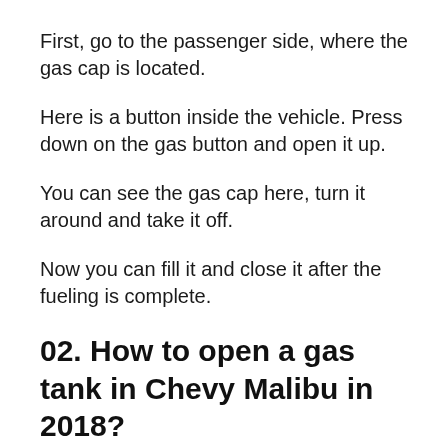First, go to the passenger side, where the gas cap is located.
Here is a button inside the vehicle. Press down on the gas button and open it up.
You can see the gas cap here, turn it around and take it off.
Now you can fill it and close it after the fueling is complete.
02. How to open a gas tank in Chevy Malibu in 2018?
The Chevy Malibu-2018 gas tank is on the passenger side like other models.